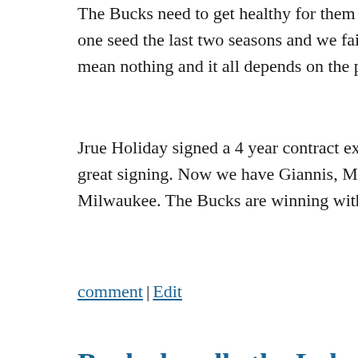The Bucks need to get healthy for them to make a deep run into one seed the last two seasons and we failed to reach the finals. S mean nothing and it all depends on the playoffs.
Jrue Holiday signed a 4 year contract extension up to 160 millio great signing. Now we have Giannis, Middleton, and Jrue locke Milwaukee. The Bucks are winning with a small market.Posted
comment | Edit
Bucks handle the Lakers 112-97
Posted on April 1, 2021 by Michael Marron
Giannis Antetokounmpo had 25 points and 10 rebounds, and Kh eight assists as the Bucks snapped their three-game losing strea the depleted defending NBA champions, who are still without L
“I think it was important because the starters hadn’t played well Milwaukee coach Mike Budenholzer said. “They have high st